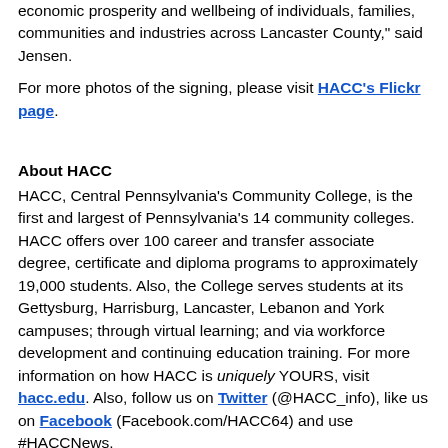economic prosperity and wellbeing of individuals, families, communities and industries across Lancaster County," said Jensen.
For more photos of the signing, please visit HACC's Flickr page.
About HACC
HACC, Central Pennsylvania's Community College, is the first and largest of Pennsylvania's 14 community colleges. HACC offers over 100 career and transfer associate degree, certificate and diploma programs to approximately 19,000 students. Also, the College serves students at its Gettysburg, Harrisburg, Lancaster, Lebanon and York campuses; through virtual learning; and via workforce development and continuing education training. For more information on how HACC is uniquely YOURS, visit hacc.edu. Also, follow us on Twitter (@HACC_info), like us on Facebook (Facebook.com/HACC64) and use #HACCNews.
About Eastern Mennonite University
A leader among faith-based, liberal arts universities since 1917, Eastern Mennonite University (EMU) emphasizes peacebuilding, sustainability, service to others, and social justice to students of diverse religious and cultural backgrounds. On the main campus in Harrisonburg, VA; at the